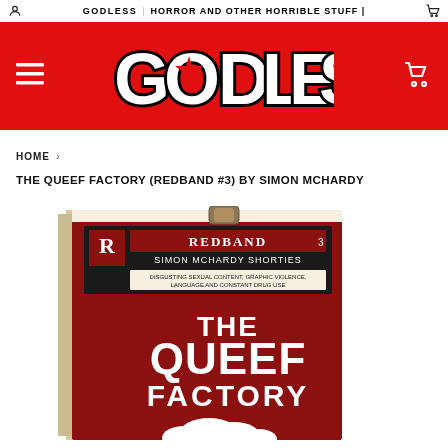GODLESS | HORROR AND OTHER HORRIBLE STUFF |
[Figure (logo): GODLESS logo in bold stylized white text on red background banner, with hamburger menu icon on left and shopping cart icon on right]
HOME >
THE QUEEF FACTORY (REDBAND #3) BY SIMON MCHARDY
[Figure (photo): Book cover photo of 'The Queef Factory' - a dark red book with white text. Top label reads REDBAND / SIMON MCHARDY SHORTIES / DISGUSTING SEXUAL CONTENT, GRAPHIC VIOLENCE, LANGUAGE AND CONSTANT DRUG USE. Main title reads THE QUEEF FACTORY with a white cloud shape at bottom.]